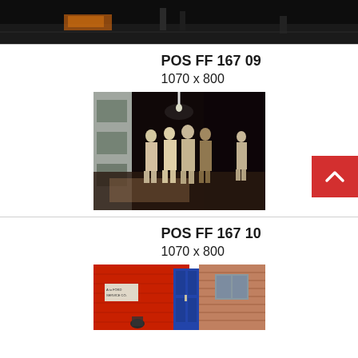[Figure (photo): Cropped street scene photo at top of page, dark tones, people on sidewalk]
POS FF 167 09
1070 x 800
[Figure (photo): Street scene with several men in coats walking on a sunlit pavement, dark archway or building entrance behind them]
POS FF 167 10
1070 x 800
[Figure (photo): Red brick building exterior with blue door, a sign on the wall, person partially visible at bottom]